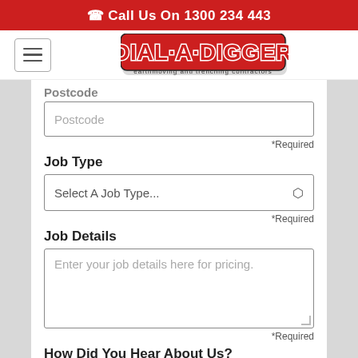Call Us On 1300 234 443
[Figure (logo): Dial-A-Digger logo with red stylized text and subtitle 'earthmoving and trenching contractors']
Postcode
Postcode (input placeholder)
*Required
Job Type
Select A Job Type...
*Required
Job Details
Enter your job details here for pricing.
*Required
How Did You Hear About Us?